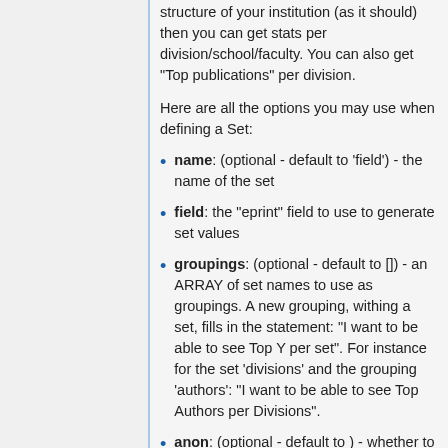structure of your institution (as it should) then you can get stats per division/school/faculty. You can also get "Top publications" per division.
Here are all the options you may use when defining a Set:
name: (optional - default to 'field') - the name of the set
field: the "eprint" field to use to generate set values
groupings: (optional - default to []) - an ARRAY of set names to use as groupings. A new grouping, withing a set, fills in the statement: "I want to be able to see Top Y per set". For instance for the set 'divisions' and the grouping 'authors': "I want to be able to see Top Authors per Divisions".
anon: (optional - default to ) - whether to make the set values